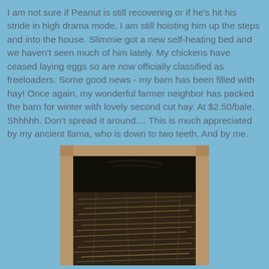I am not sure if Peanut is still recovering or if he's hit his stride in high drama mode.  I am still hoisting him up the steps and into the house.  Slimmie got a new self-heating bed and we haven't seen much of him lately.  My chickens have ceased laying eggs so are now officially classified as freeloaders.  Some good news - my barn has been filled with hay!  Once again, my wonderful farmer neighbor has packed the barn for winter with lovely second cut hay.  At $2.50/bale.  Shhhhh.  Don't spread it around....  This is much appreciated by my ancient llama, who is down to two teeth. And by me.
[Figure (photo): A wooden barn door or hay chute opening, showing a dark interior packed full of dry hay/straw, with a wooden frame border visible around the opening.]